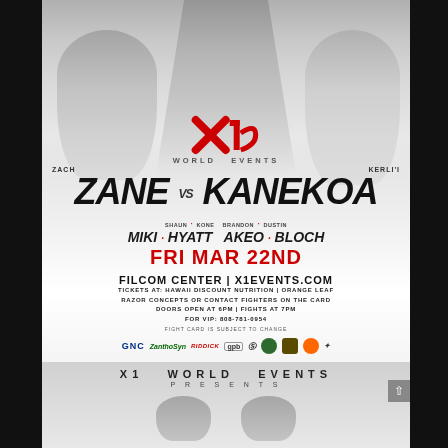[Figure (photo): X1 World Events boxing/MMA promotional poster showing multiple fighters in fighting stances against a light grey background, with X1 logo in center]
X1 WORLD EVENTS
ZACH ZANE vs KERLI'I KANEKOA
MIKI · HYATT AKEO · BLOCH
FRI MAR 22ND
FILCOM CENTER | X1EVENTS.COM
TICKETS AT: HAWAII DISCOUNT NUTRITION | ORANGE LEAF
RAZOR CONCEPTS OR CONTACT FIGHTERS ON THE CARD
DOORS OPEN AT 6PM | FIGHTS AT 7PM
FOR VIP: 808-781-0954
FIGHT CARD IS SUBJECT TO CHANGE
GNC ZanthoSyn [sponsor logos] gpb [sponsor icons]
X1 WORLD EVENTS PRESENTS